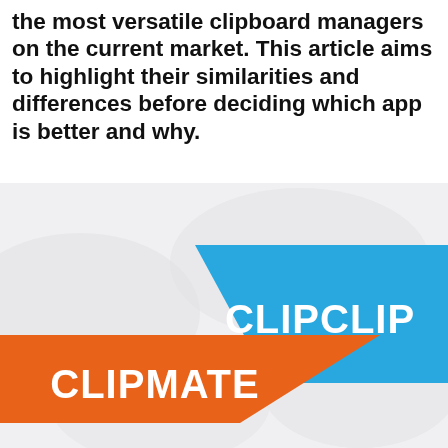the most versatile clipboard managers on the current market. This article aims to highlight their similarities and differences before deciding which app is better and why.
[Figure (illustration): Promotional banner image showing two clipboard manager app logos: CLIPCLIP on a blue diagonal banner (top right) and CLIPMATE on an orange diagonal banner (bottom left), overlapping on a light grey background with subtle wave shapes.]